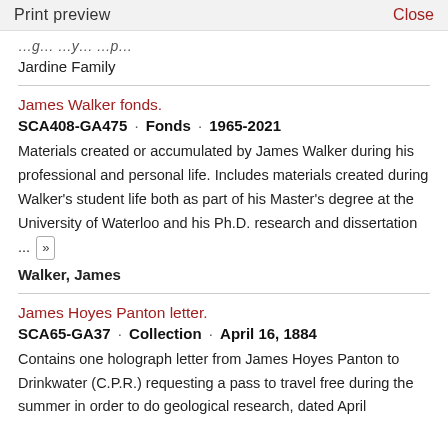Print preview   Close
Jardine Family
James Walker fonds.
SCA408-GA475 · Fonds · 1965-2021
Materials created or accumulated by James Walker during his professional and personal life. Includes materials created during Walker's student life both as part of his Master's degree at the University of Waterloo and his Ph.D. research and dissertation ...
Walker, James
James Hoyes Panton letter.
SCA65-GA37 · Collection · April 16, 1884
Contains one holograph letter from James Hoyes Panton to Drinkwater (C.P.R.) requesting a pass to travel free during the summer in order to do geological research, dated April